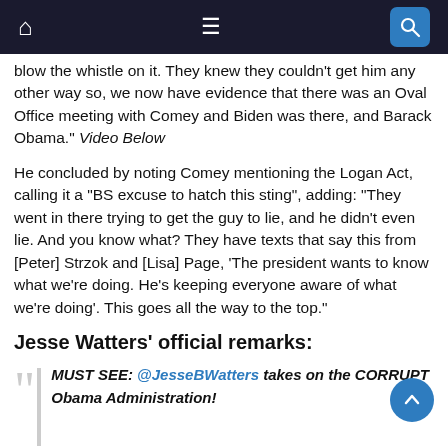[Navigation bar with home, menu, and search icons]
blow the whistle on it. They knew they couldn't get him any other way so, we now have evidence that there was an Oval Office meeting with Comey and Biden was there, and Barack Obama.” Video Below
He concluded by noting Comey mentioning the Logan Act, calling it a “BS excuse to hatch this sting”, adding: “They went in there trying to get the guy to lie, and he didn’t even lie. And you know what? They have texts that say this from [Peter] Strzok and [Lisa] Page, ‘The president wants to know what we’re doing. He’s keeping everyone aware of what we’re doing’. This goes all the way to the top.”
Jesse Watters’ official remarks:
MUST SEE: @JesseBWatters takes on the CORRUPT Obama Administration!